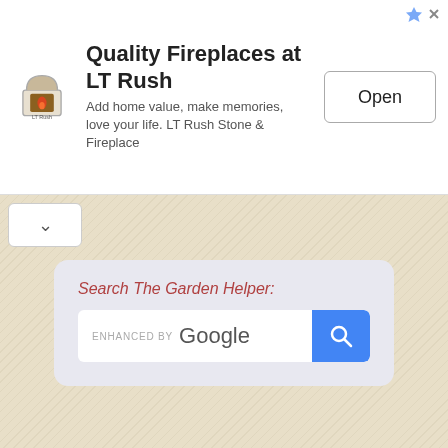[Figure (infographic): Advertisement banner for LT Rush fireplaces with logo, headline text, subtext, and Open button]
Quality Fireplaces at LT Rush
Add home value, make memories, love your life. LT Rush Stone & Fireplace
[Figure (infographic): Search box with label 'Search The Garden Helper:' and Google-powered search input]
Share this page:
[Figure (infographic): Social share buttons for Facebook, Twitter, LinkedIn, Reddit, Pocket, and Email]
About The Garden Helper
The Garden Helper is a free gardening encyclopedia and guides to growing and